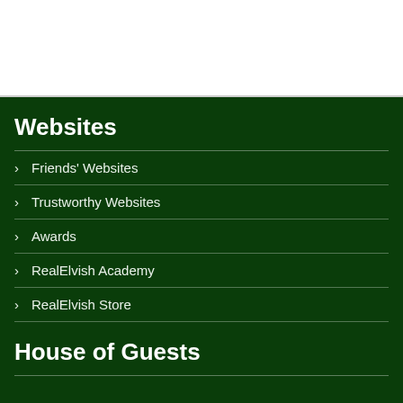Websites
Friends' Websites
Trustworthy Websites
Awards
RealElvish Academy
RealElvish Store
House of Guests